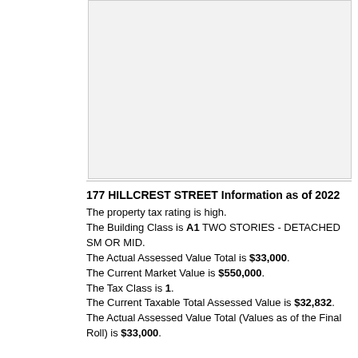[Figure (photo): Property photo area, light gray rectangle placeholder]
177 HILLCREST STREET Information as of 2022
The property tax rating is high. The Building Class is A1 TWO STORIES - DETACHED SM OR MID. The Actual Assessed Value Total is $33,000. The Current Market Value is $550,000. The Tax Class is 1. The Current Taxable Total Assessed Value is $32,832. The Actual Assessed Value Total (Values as of the Final Roll) is $33,000.